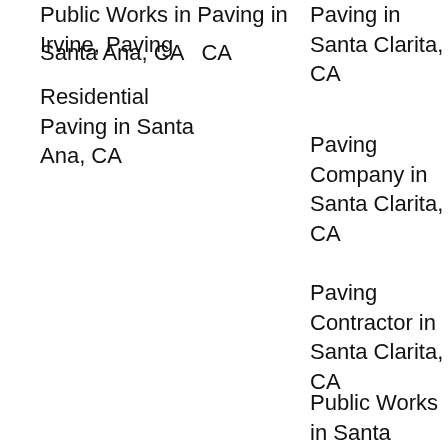Public Works in Paving in Irvine, Paving (partial, cut off at top)
Santa Ana, CA   CA
Residential Paving in Santa Ana, CA
Paving in Santa Clarita, CA
Paving Company in Santa Clarita, CA
Paving Contractor in Santa Clarita, CA
Public Works in Santa Clarita, CA
Residential Paving in Santa (partial, cut off at bottom)